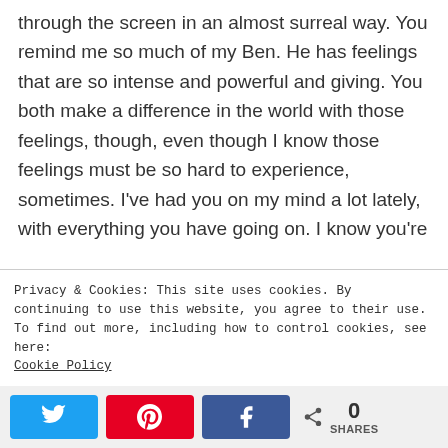through the screen in an almost surreal way. You remind me so much of my Ben. He has feelings that are so intense and powerful and giving. You both make a difference in the world with those feelings, though, even though I know those feelings must be so hard to experience, sometimes. I've had you on my mind a lot lately, with everything you have going on. I know you're
Privacy & Cookies: This site uses cookies. By continuing to use this website, you agree to their use. To find out more, including how to control cookies, see here: Cookie Policy
[Figure (other): Social share bar with Twitter, Pinterest, Facebook buttons and a share count showing 0 SHARES]